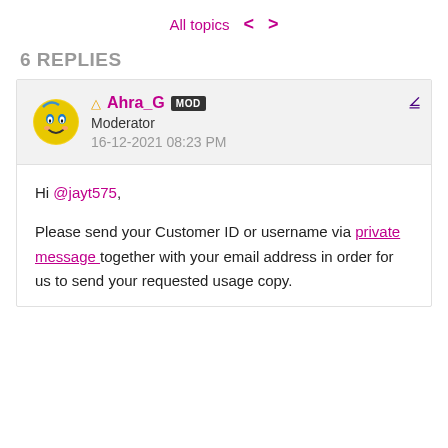All topics < >
6 REPLIES
Ahra_G MOD
Moderator
16-12-2021 08:23 PM
Hi @jayt575,

Please send your Customer ID or username via private message together with your email address in order for us to send your requested usage copy.